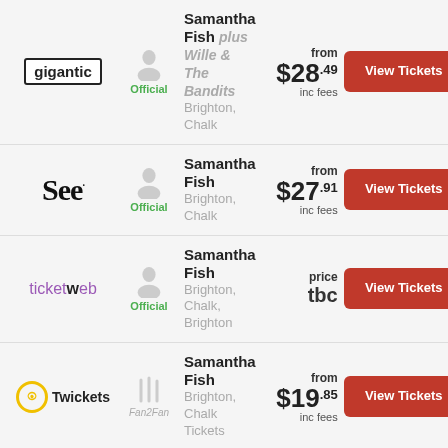gigantic Official - Samantha Fish plus Wille & The Bandits - Brighton, Chalk - from $28.49 inc fees - View Tickets
See Official - Samantha Fish - Brighton, Chalk - from $27.91 inc fees - View Tickets
ticketweb Official - Samantha Fish - Brighton, Chalk, Brighton - price tbc - View Tickets
Twickets Fan2Fan - Samantha Fish - Brighton, Chalk Tickets - from $19.85 inc fees - View Tickets